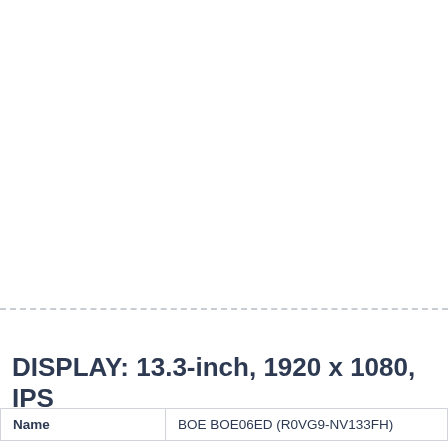DISPLAY: 13.3-inch, 1920 x 1080, IPS
| Name |  |
| --- | --- |
| Name | BOE BOE06ED (R0VG9-NV133FH) |